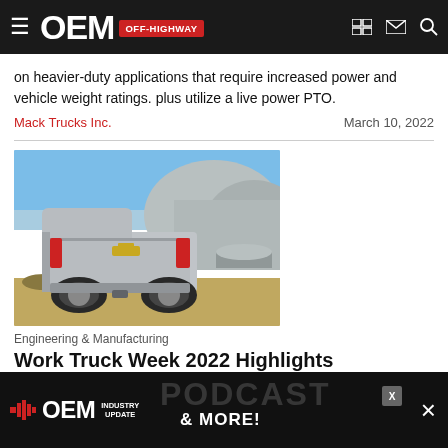OEM OFF-HIGHWAY
on heavier-duty applications that require increased power and vehicle weight ratings. plus utilize a live power PTO.
Mack Trucks Inc.    March 10, 2022
[Figure (photo): Rear view of a silver Chevrolet pickup truck on a rocky construction site with pipes and rubble in background.]
Engineering & Manufacturing
Work Truck Week 2022 Highlights Electrification, Advanced Technologies
North Ame... ws around ele... advanced technologie...
[Figure (infographic): OEM Industry Update podcast ad banner at bottom of screen with close button.]